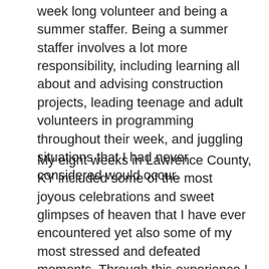week long volunteer and being a summer staffer. Being a summer staffer involves a lot more responsibility, including learning all about and advising construction projects, leading teenage and adult volunteers in programming throughout their week, and juggling situations that I had never considered would occur.
My eight weeks in Lawrence County, KY included some of the most joyous celebrations and sweet glimpses of heaven that I have ever encountered yet also some of my most stressed and defeated moments. Through this experience I learned the reality of some of the difficulties and realities that missions and nonprofit organizations like